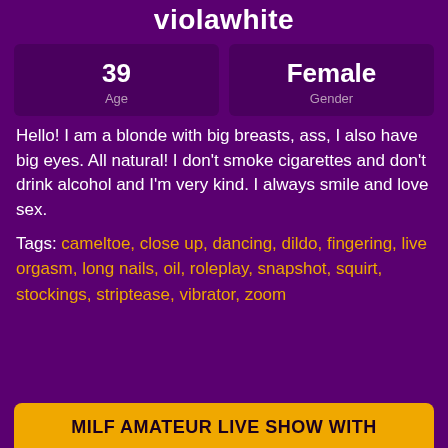violawhite
| 39 Age | Female Gender |
| --- | --- |
Hello! I am a blonde with big breasts, ass, I also have big eyes. All natural! I don't smoke cigarettes and don't drink alcohol and I'm very kind. I always smile and love sex.
Tags: cameltoe, close up, dancing, dildo, fingering, live orgasm, long nails, oil, roleplay, snapshot, squirt, stockings, striptease, vibrator, zoom
MILF AMATEUR LIVE SHOW WITH